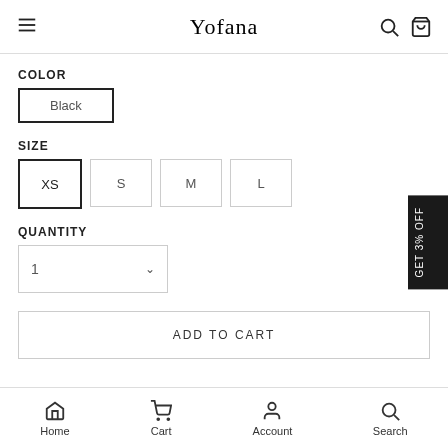Yofana
COLOR
Black
SIZE
XS  S  M  L
QUANTITY
1
ADD TO CART
Home  Cart  Account  Search